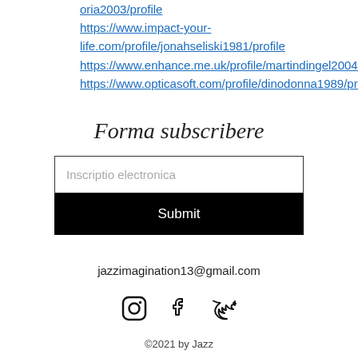oria2003/profile https://www.impact-your-life.com/profile/jonahseliski1981/profile https://www.enhance.me.uk/profile/martindingel2004/profile https://www.opticasoft.com/profile/dinodonna1989/profile
Forma subscribere
Inscriptio electronica
Submit
jazzimagination13@gmail.com
[Figure (other): Social media icons: Instagram, Facebook, Twitter]
©2021 by Jazz